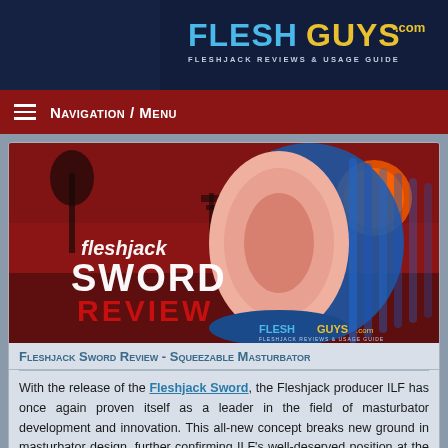FLESHGUYS.com — FLESHJACK REVIEWS & USAGE GUIDE
Navigation / Menu
[Figure (photo): Product image for Fleshjack Sword Review featuring the blue squeezable masturbator device with a Japanese sunset background and the text 'fleshjack Sword Review' overlaid. FleshGuys.com logo in corner.]
Fleshjack Sword Review - Squeezable Masturbator
With the release of the Fleshjack Sword, the Fleshjack producer ILF has once again proven itself as a leader in the field of masturbator development and innovation. This all-new concept breaks new ground in masturbator design, further confirming ILF's well-deserved position at the very forefront of its market segment.